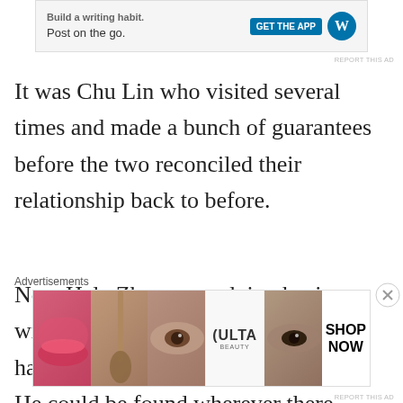[Figure (screenshot): Advertisement banner for WordPress app: 'Build a writing habit. Post on the go.' with GET THE APP button and WordPress logo]
REPORT THIS AD
It was Chu Lin who visited several times and made a bunch of guarantees before the two reconciled their relationship back to before.
Now Hala Zhang was doing business with Chu Lin. The business Chu Lin had to take care of was very varied. He could be found wherever there was a need for someone——no one dared to let him do important things as Chu Lin was really not someone who could do practical
Advertisements
[Figure (screenshot): ULTA Beauty advertisement banner with makeup imagery and SHOP NOW call to action]